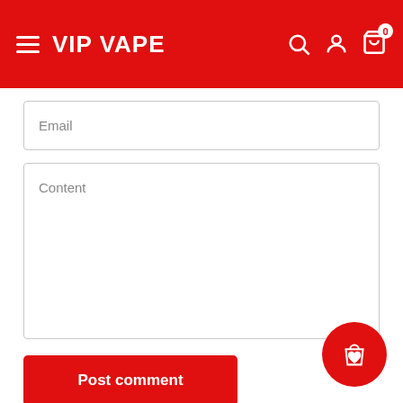VIP VAPE
Email
Content
Post comment